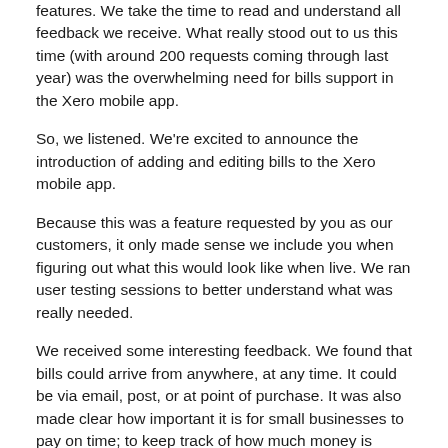features. We take the time to read and understand all feedback we receive. What really stood out to us this time (with around 200 requests coming through last year) was the overwhelming need for bills support in the Xero mobile app.
So, we listened. We're excited to announce the introduction of adding and editing bills to the Xero mobile app.
Because this was a feature requested by you as our customers, it only made sense we include you when figuring out what this would look like when live. We ran user testing sessions to better understand what was really needed.
We received some interesting feedback. We found that bills could arrive from anywhere, at any time. It could be via email, post, or at point of purchase. It was also made clear how important it is for small businesses to pay on time; to keep track of how much money is available and to maintain a good reputation with suppliers, many of whom are small businesses too.
What's new